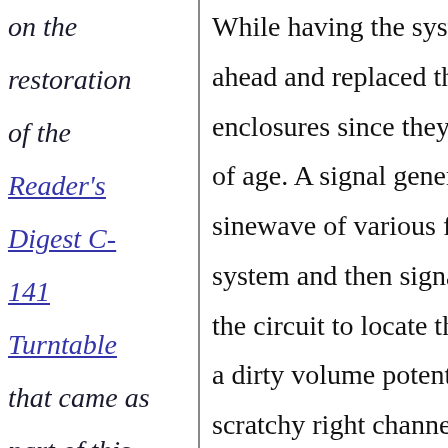on the restoration of the Reader's Digest C-141 Turntable that came as part of this
While having the system ahead and replaced the enclosures since they, t of age. A signal genera sinewave of various fre system and then signals the circuit to locate the a dirty volume potentio scratchy right channel p